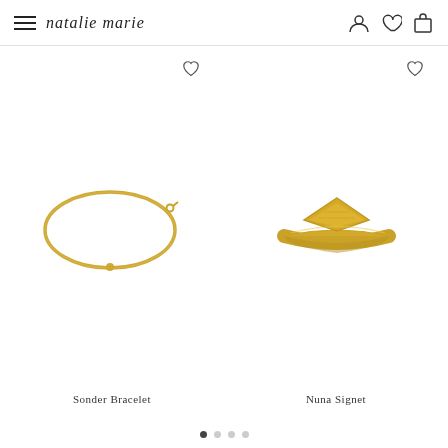natalie marie — navigation header with hamburger menu, brand logo, user icon, wishlist icon, cart icon
[Figure (photo): Gold thin bangle bracelet with small bead detail, shown on white background]
[Figure (photo): Gold signet ring with diamond-shaped top face, shown on white background]
Sonder Bracelet
Nuna Signet